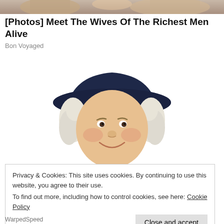[Figure (photo): Top portion of a photo showing people, cropped at top of page]
[Photos] Meet The Wives Of The Richest Men Alive
Bon Voyaged
[Figure (illustration): Illustration of the Quaker Oats mascot — a smiling man with white curly hair and a dark wide-brimmed hat]
Privacy & Cookies: This site uses cookies. By continuing to use this website, you agree to their use.
To find out more, including how to control cookies, see here: Cookie Policy
WarpedSpeed